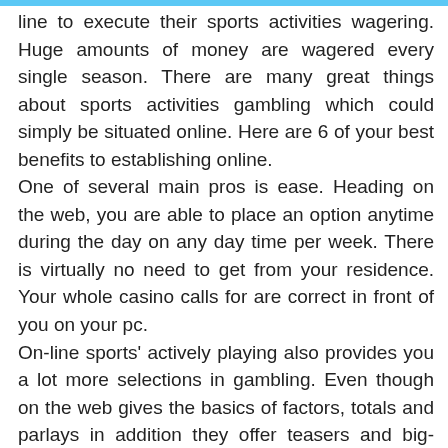line to execute their sports activities wagering. Huge amounts of money are wagered every single season. There are many great things about sports activities gambling which could simply be situated online. Here are 6 of your best benefits to establishing online. One of several main pros is ease. Heading on the web, you are able to place an option anytime during the day on any day time per week. There is virtually no need to get from your residence. Your whole casino calls for are correct in front of you on your pc. On-line sports' actively playing also provides you a lot more selections in gambling. Even though on the web gives the basics of factors, totals and parlays in addition they offer teasers and big-exercise props as well as gambling on non-exercise routines. A great deal of on the internet athletics wagering web sites offer reward deals on increase. Some internet sites provide you with up to 15 % added bonus offers which imply in the event you place in 500 money you